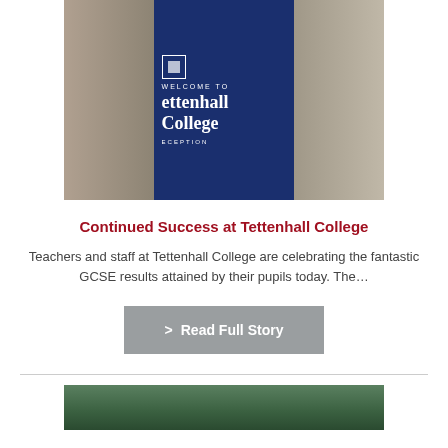[Figure (photo): Two students standing in front of a 'Welcome to Tettenhall College' sign/banner, with a brick building in the background. One student on the left wearing a black t-shirt, one on the right wearing a white crochet top.]
Continued Success at Tettenhall College
Teachers and staff at Tettenhall College are celebrating the fantastic GCSE results attained by their pupils today. The...
> Read Full Story
[Figure (photo): Partial photo visible at bottom of page, showing trees or outdoor greenery.]